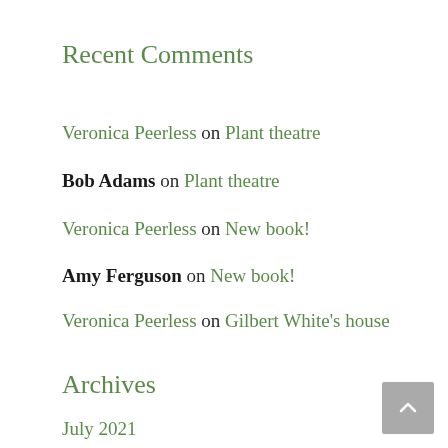Recent Comments
Veronica Peerless on Plant theatre
Bob Adams on Plant theatre
Veronica Peerless on New book!
Amy Ferguson on New book!
Veronica Peerless on Gilbert White's house
Archives
July 2021